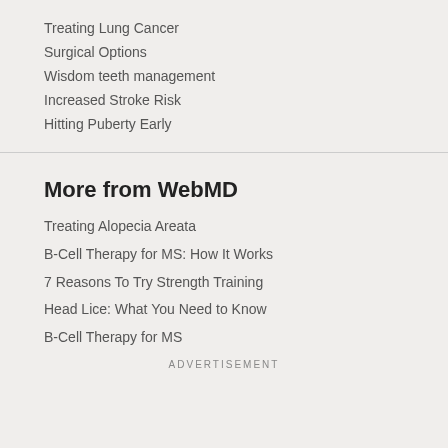Treating Lung Cancer
Surgical Options
Wisdom teeth management
Increased Stroke Risk
Hitting Puberty Early
More from WebMD
Treating Alopecia Areata
B-Cell Therapy for MS: How It Works
7 Reasons To Try Strength Training
Head Lice: What You Need to Know
B-Cell Therapy for MS
ADVERTISEMENT